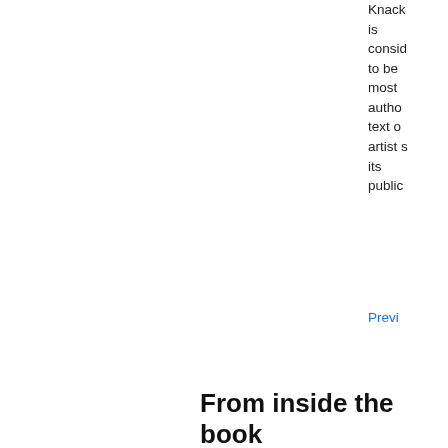Knack is considered to be most authoritative text on artist since its publication
Preview
From inside the book
Queen
Search
Results 1-5 of 15
Page 23
which are still to be seen